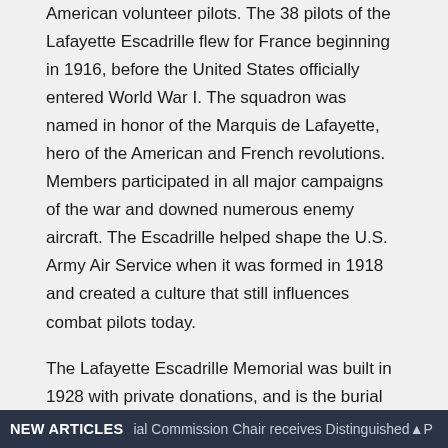American volunteer pilots. The 38 pilots of the Lafayette Escadrille flew for France beginning in 1916, before the United States officially entered World War I. The squadron was named in honor of the Marquis de Lafayette, hero of the American and French revolutions. Members participated in all major campaigns of the war and downed numerous enemy aircraft. The Escadrille helped shape the U.S. Army Air Service when it was formed in 1918 and created a culture that still influences combat pilots today.
The Lafayette Escadrille Memorial was built in 1928 with private donations, and is the burial place of 49 Americans who died in the war. The monument commemorates not only the original 38 members of the squadron, but also the 200 or so who succeeded them as volunteers in various French squadrons, together known as the Lafayette Flying Corps.
NEW ARTICLES  ial Commission Chair receives Distinguished P